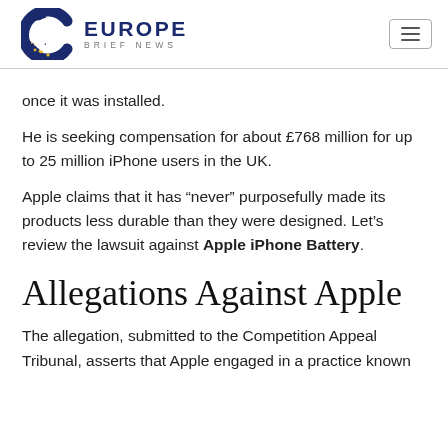Europe Brief News
once it was installed.
He is seeking compensation for about £768 million for up to 25 million iPhone users in the UK.
Apple claims that it has “never” purposefully made its products less durable than they were designed. Let’s review the lawsuit against Apple iPhone Battery.
Allegations Against Apple
The allegation, submitted to the Competition Appeal Tribunal, asserts that Apple engaged in a practice known